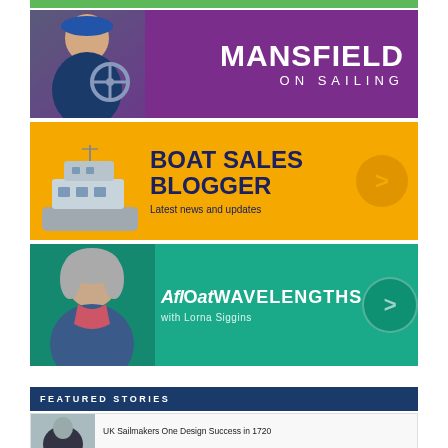[Figure (photo): Green banner strip at top, partially visible]
[Figure (illustration): Purple banner: person sailing with text MANSFIELD ON SAILING]
[Figure (illustration): Yellow banner: boat image with text BOAT SALES BLOGGER - Latest news and updates, orange arrow circle]
[Figure (illustration): Teal banner: woman portrait with AFLOAT WAVELENGTHS with Lorna Siggins text and circle arrow]
FEATURED STORIES
UK Sailmakers One Design Success in 1720